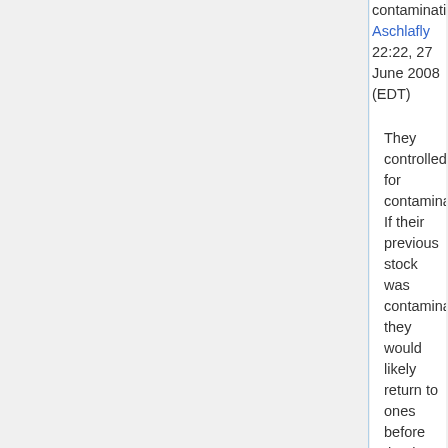contamination. Aschlafly 22:22, 27 June 2008 (EDT)
They controlled for contamination. If their previous stock was contaminated they would likely return to ones before that last stock. Clearly, they would not want to work with contaminated stocks as it would damage the experiment.-- Argon 10:19,